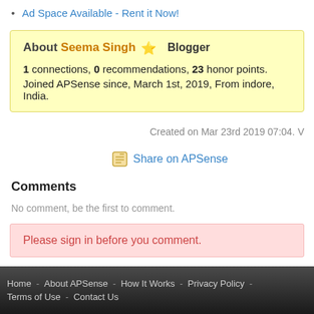Ad Space Available - Rent it Now!
About Seema Singh ⭐ Blogger
1 connections, 0 recommendations, 23 honor points.
Joined APSense since, March 1st, 2019, From indore, India.
Created on Mar 23rd 2019 07:04. V
Share on APSense
Comments
No comment, be the first to comment.
Please sign in before you comment.
Home - About APSense - How It Works - Privacy Policy - Terms of Use - Contact Us